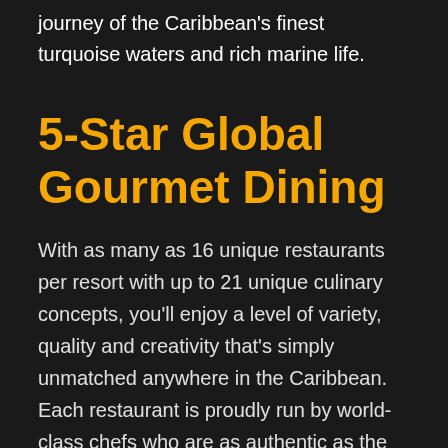journey of the Caribbean's finest turquoise waters and rich marine life.
5-Star Global Gourmet Dining
With as many as 16 unique restaurants per resort with up to 21 unique culinary concepts, you'll enjoy a level of variety, quality and creativity that's simply unmatched anywhere in the Caribbean. Each restaurant is proudly run by world-class chefs who are as authentic as the